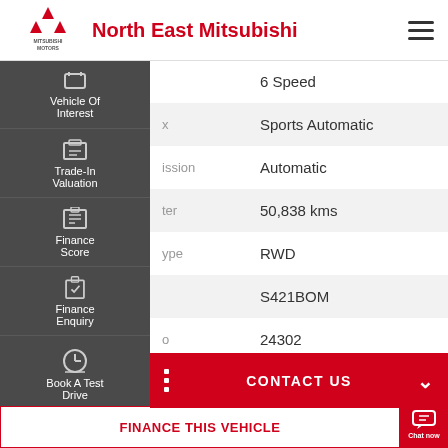North East Mitsubishi
| Field | Value |
| --- | --- |
|  | 6 Speed |
| x | Sports Automatic |
| ission | Automatic |
| ter | 50,838 kms |
| ype | RWD |
|  | S421BOM |
| o | 24302 |
| ation | 11.3l/100km |
CONTACT US
FINANCE THIS VEHICLE